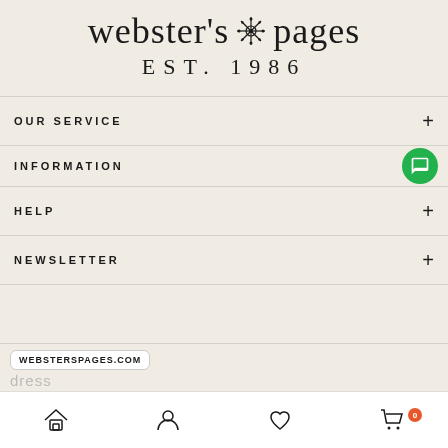[Figure (logo): Webster's Pages logo with decorative snowflake/star motif between the two words, and 'EST. 1986' below in serif lettering]
OUR SERVICE
INFORMATION
HELP
NEWSLETTER
WEBSTERSPAGES.COM
dress (placeholder input)
[Figure (infographic): Bottom navigation bar with home, user, heart/wishlist, and cart icons. Cart has orange badge showing 0.]